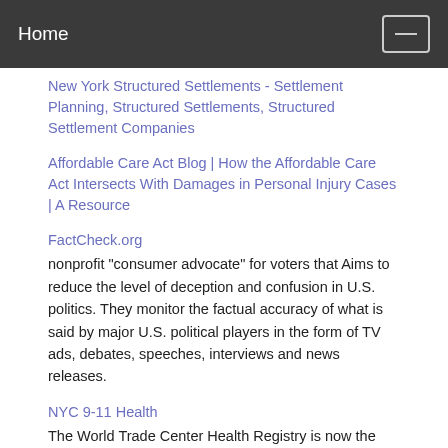Home
New York Structured Settlements - Settlement Planning, Structured Settlements, Structured Settlement Companies
Affordable Care Act Blog | How the Affordable Care Act Intersects With Damages in Personal Injury Cases | A Resource
FactCheck.org
nonprofit "consumer advocate" for voters that Aims to reduce the level of deception and confusion in U.S. politics. They monitor the factual accuracy of what is said by major U.S. political players in the form of TV ads, debates, speeches, interviews and news releases.
NYC 9-11 Health
The World Trade Center Health Registry is now the largest registry in U.S. history to track the health effects of a disaster. The federally funded program is information central for first responders and others with health issues from 9-11.